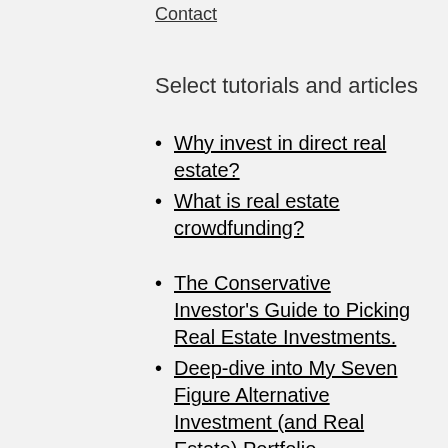Contact
Select tutorials and articles
Why invest in direct real estate?
What is real estate crowdfunding?
The Conservative Investor's Guide to Picking Real Estate Investments.
Deep-dive into My Seven Figure Alternative Investment (and Real Estate) Portfolio
How to Invest in Passive Real